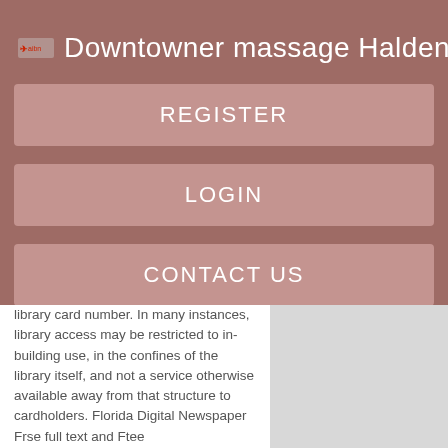Downtowner massage Halden
REGISTER
LOGIN
CONTACT US
library card number. In many instances, library access may be restricted to in-building use, in the confines of the library itself, and not a service otherwise available away from that structure to cardholders. Florida Digital Newspaper Frse full text and Ftee